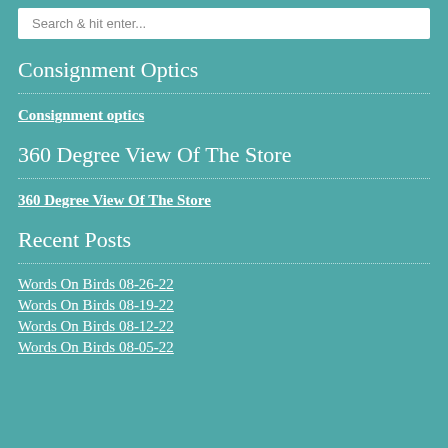Search & hit enter...
Consignment Optics
Consignment optics
360 Degree View Of The Store
360 Degree View Of The Store
Recent Posts
Words On Birds 08-26-22
Words On Birds 08-19-22
Words On Birds 08-12-22
Words On Birds 08-05-22